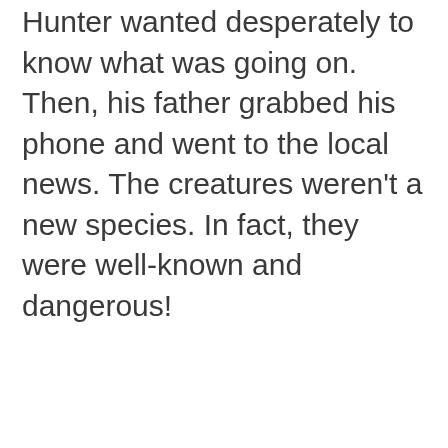Hunter wanted desperately to know what was going on. Then, his father grabbed his phone and went to the local news. The creatures weren't a new species. In fact, they were well-known and dangerous!
ADVERTISEMENT